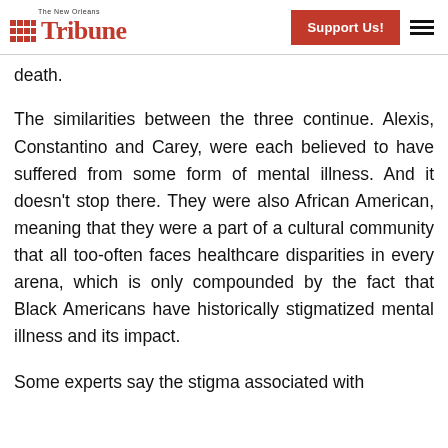The New Orleans Tribune — Support Us!
death.
The similarities between the three continue. Alexis, Constantino and Carey, were each believed to have suffered from some form of mental illness. And it doesn't stop there. They were also African American, meaning that they were a part of a cultural community that all too-often faces healthcare disparities in every arena, which is only compounded by the fact that Black Americans have historically stigmatized mental illness and its impact.
Some experts say the stigma associated with